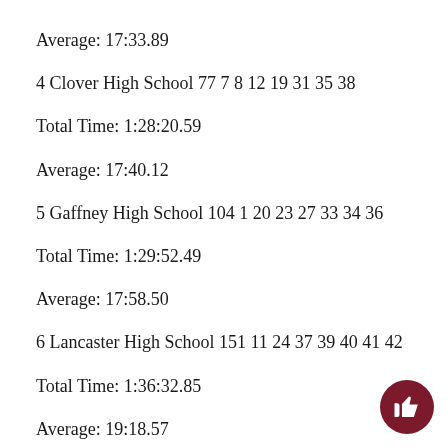Average: 17:33.89
4 Clover High School 77 7 8 12 19 31 35 38
Total Time: 1:28:20.59
Average: 17:40.12
5 Gaffney High School 104 1 20 23 27 33 34 36
Total Time: 1:29:52.49
Average: 17:58.50
6 Lancaster High School 151 11 24 37 39 40 41 42
Total Time: 1:36:32.85
Average: 19:18.57